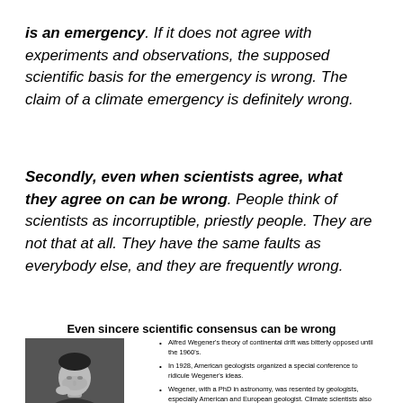is an emergency. If it does not agree with experiments and observations, the supposed scientific basis for the emergency is wrong. The claim of a climate emergency is definitely wrong.
Secondly, even when scientists agree, what they agree on can be wrong. People think of scientists as incorruptible, priestly people. They are not that at all. They have the same faults as everybody else, and they are frequently wrong.
Even sincere scientific consensus can be wrong
[Figure (photo): Black and white photograph of Alfred Wegener looking downward]
[Figure (illustration): Map outline showing continental drift]
Alfred Wegener (1880–1930)

Proponent of the theory of continental drift.

Perished on the Greenland ice cap in 1930.
Alfred Wegener's theory of continental drift was bitterly opposed until the 1960's.
In 1928, American geologists organized a special conference to ridicule Wegener's ideas.
Wegener, with a PhD in astronomy, was resented by geologists, especially American and European geologist. Climate scientists also sneer at critics who are distinguished physicists.